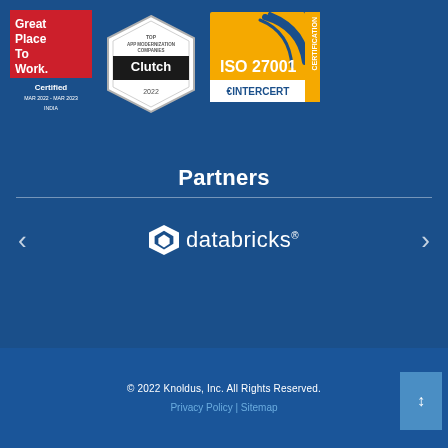[Figure (logo): Great Place To Work Certified MAR 2022 - MAR 2023 INDIA badge (red background)]
[Figure (logo): Clutch Top App Modernization Companies 2022 badge (hexagon shape, grey/silver)]
[Figure (logo): ISO 27001 Certification Intercert badge (orange/yellow background with certification stripe)]
Partners
[Figure (logo): Databricks partner logo (white, with diamond/crystal icon)]
© 2022 Knoldus, Inc. All Rights Reserved. Privacy Policy | Sitemap